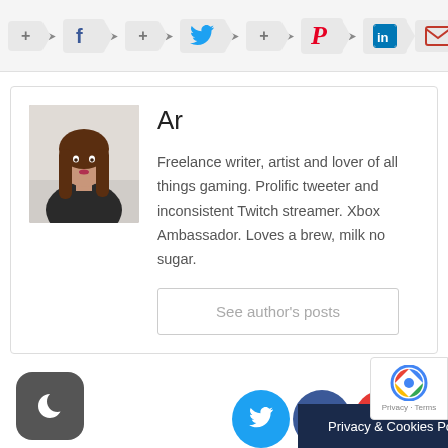[Figure (screenshot): Social media share bar with Facebook, Twitter, Pinterest, LinkedIn, and email icons with plus signs and arrow connectors]
Ar
[Figure (photo): Profile photo of a young woman with long brown hair wearing a dark top]
Freelance writer, artist and lover of all things gaming. Prolific tweeter and inconsistent Twitch streamer. Xbox Ambassador. Loves a brew, milk no sugar.
See author's posts
[Figure (screenshot): Dark mode toggle button (moon icon), social media circle icons (Twitter, Facebook, YouTube, Pinterest), Privacy & Cookies Policy banner, and reCAPTCHA badge]